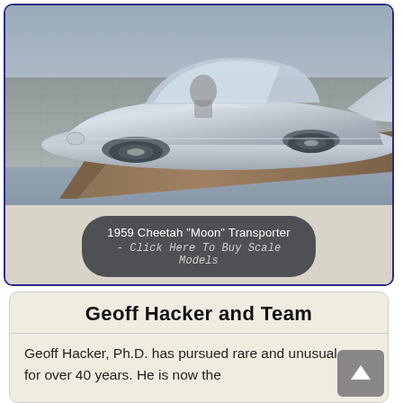[Figure (photo): Photograph of a silver 1959 Cheetah Moon Transporter scale model car displayed on a wooden shelf/platform against a grey background. The car has a sleek futuristic design with large tail fins and a convertible-style open cabin.]
1959 Cheetah "Moon" Transporter - Click Here To Buy Scale Models
Geoff Hacker and Team
Geoff Hacker, Ph.D. has pursued rare and unusual cars for over 40 years. He is now the